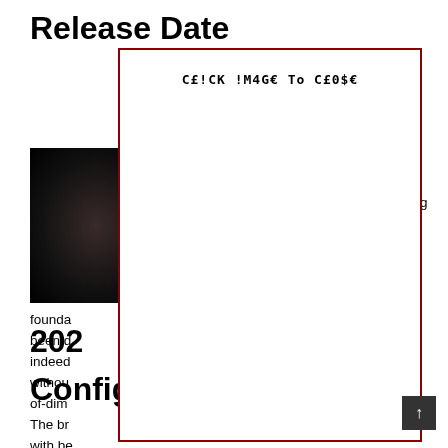Release Date
[Figure (photo): Dark photograph of a car, mostly black background with a slight red-toned vehicle silhouette visible]
lease long ording as was is ddle nges. ed with be
founda been d indeed withou of-dim The br with be
[Figure (other): Modal dialog overlay with red border containing monospace text: CE!CK !M4GE To C£0$€]
202
W
Configurations